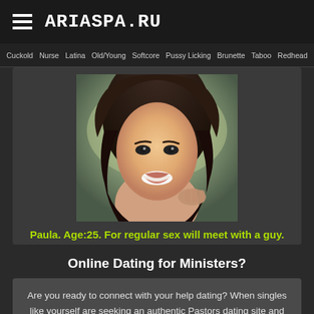ARIASPA.RU
Cuckold  Nurse  Latina  Old/Young  Softcore  Pussy Licking  Brunette  Taboo  Redhead
[Figure (photo): Close-up photo of a smiling young woman with dark hair]
Paula. Age:25. For regular sex will meet with a guy.
Online Dating for Ministers?
Are you ready to connect with your help dating? When singles like yourself are seeking an authentic Pastors dating site and want to connect with